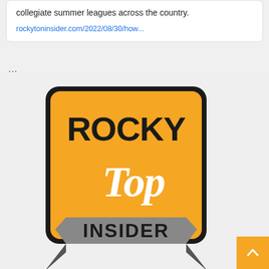collegiate summer leagues across the country.
rockytoninsider.com/2022/08/30/how...
...
[Figure (logo): Rocky Top Insider logo — orange square badge with black bold text 'ROCKY' at top, white script 'Top' in center, and gray banner with 'INSIDER' at bottom. Black thick rounded-rectangle border.]